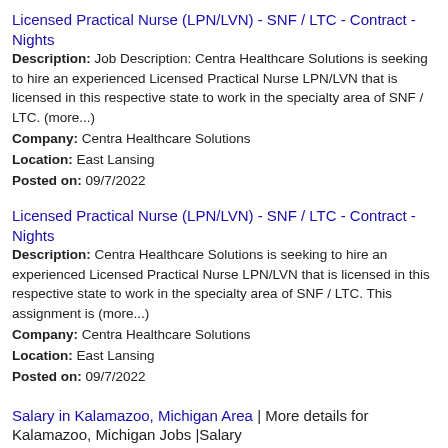Licensed Practical Nurse (LPN/LVN) - SNF / LTC - Contract - Nights
Description: Job Description: Centra Healthcare Solutions is seeking to hire an experienced Licensed Practical Nurse LPN/LVN that is licensed in this respective state to work in the specialty area of SNF / LTC. (more...) Company: Centra Healthcare Solutions Location: East Lansing Posted on: 09/7/2022
Licensed Practical Nurse (LPN/LVN) - SNF / LTC - Contract - Nights
Description: Centra Healthcare Solutions is seeking to hire an experienced Licensed Practical Nurse LPN/LVN that is licensed in this respective state to work in the specialty area of SNF / LTC. This assignment is (more...) Company: Centra Healthcare Solutions Location: East Lansing Posted on: 09/7/2022
Salary in Kalamazoo, Michigan Area | More details for Kalamazoo, Michigan Jobs |Salary